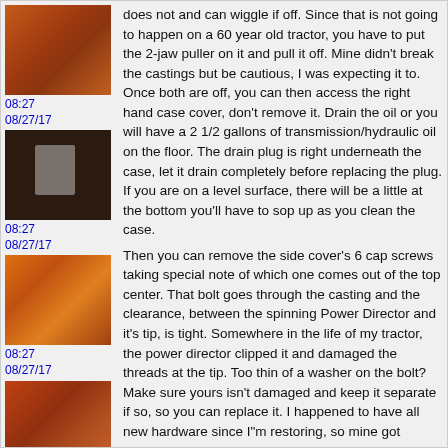[Figure (photo): Close-up photo of orange/rust colored tractor casting part]
08:27
08/27/17
[Figure (photo): Close-up photo of dark tractor internal mechanism with metal parts visible]
08:27
08/27/17
[Figure (photo): Close-up photo of orange tractor components with hoses or cables]
08:27
08/27/17
[Figure (photo): Close-up photo of tractor parts with orange components and metal fittings]
does not and can wiggle if off. Since that is not going to happen on a 60 year old tractor, you have to put the 2-jaw puller on it and pull it off. Mine didn't break the castings but be cautious, I was expecting it to. Once both are off, you can then access the right hand case cover, don't remove it. Drain the oil or you will have a 2 1/2 gallons of transmission/hydraulic oil on the floor. The drain plug is right underneath the case, let it drain completely before replacing the plug. If you are on a level surface, there will be a little at the bottom you'll have to sop up as you clean the case.
Then you can remove the side cover's 6 cap screws taking special note of which one comes out of the top center. That bolt goes through the casting and the clearance, between the spinning Power Director and it's tip, is tight. Somewhere in the life of my tractor, the power director clipped it and damaged the threads at the tip. Too thin of a washer on the bolt? Make sure yours isn't damaged and keep it separate if so, so you can replace it. I happened to have all new hardware since I"m restoring, so mine got tossed.
If yours was like mine, the case was in awful shape, the bottom needed a thorough cleaning to eliminate the sludge. I cleaned everything up and then stuffed paper towels down under the shaft at the front of the case. The importance of this is that it will be very difficult to